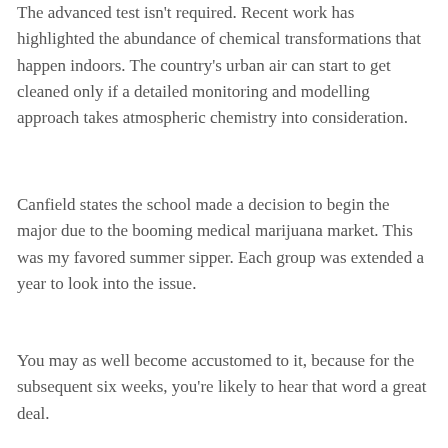The advanced test isn't required. Recent work has highlighted the abundance of chemical transformations that happen indoors. The country's urban air can start to get cleaned only if a detailed monitoring and modelling approach takes atmospheric chemistry into consideration.
Canfield states the school made a decision to begin the major due to the booming medical marijuana market. This was my favored summer sipper. Each group was extended a year to look into the issue.
You may as well become accustomed to it, because for the subsequent six weeks, you're likely to hear that word a great deal.